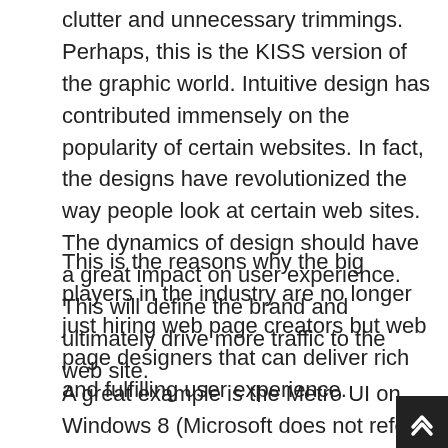clutter and unnecessary trimmings. Perhaps, this is the KISS version of the graphic world. Intuitive design has contributed immensely on the popularity of certain websites. In fact, the designs have revolutionized the way people look at certain web sites. The dynamics of design should have a great impact on user experience. This will define the brand and ultimately drive more traffic to the web site.
This is the reasons why the big players in the industry are no longer just hiring web page creators but web page designers that can deliver rich and fulfilling user experience.
A great example is the Metro UI on Windows 8 (Microsoft does not refer to it officially as Metro anymore); the minimalist approach is born out of the concept that everything should be pleasing with the eye by using more white spaces. Not just using mo